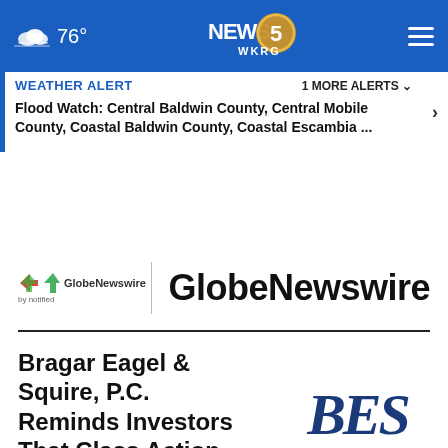76° NEWS 5 WKRG
WEATHER ALERT    1 MORE ALERTS ∨
Flood Watch: Central Baldwin County, Central Mobile County, Coastal Baldwin County, Coastal Escambia ...
[Figure (logo): GlobeNewswire by notified logo with small icon and large text 'GlobeNewswire']
Bragar Eagel & Squire, P.C. Reminds Investors That Class Action Lawsuits Have Been
[Figure (logo): BES (Bragar Eagel & Squire) initials logo in dark blue italic serif font]